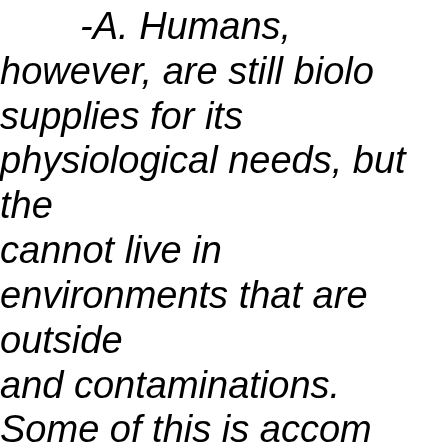-A. Humans, however, are still biolo supplies for its physiological needs, but the cannot live in environments that are outside and contaminations. Some of this is accom and cultures to provides for and mitigate te anything is limited by increasing conflicts b they create via technology and ideology, ha resulting in even more selective pressures potentials.
-B. Mankind still has not acquired a either themselves or the anthropo and natu getting closer to such knowledge, in part be breaking points, one learns how they work